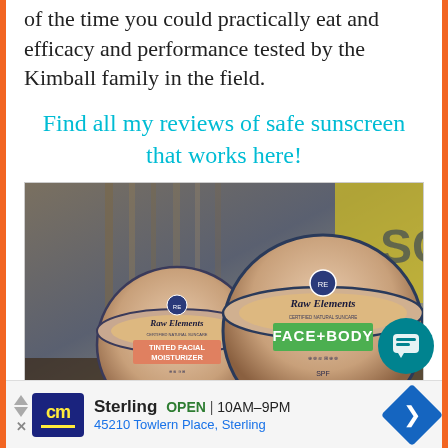of the time you could practically eat and efficacy and performance tested by the Kimball family in the field.
Find all my reviews of safe sunscreen that works here!
[Figure (photo): Two Raw Elements sunscreen tins: a smaller tin labeled 'Tinted Facial Moisturizer SPF 30' and a larger tin labeled 'Face+Body SPF 30', photographed outdoors against a wooden background.]
Sterling  OPEN | 10AM-9PM
45210 Towlern Place, Sterling